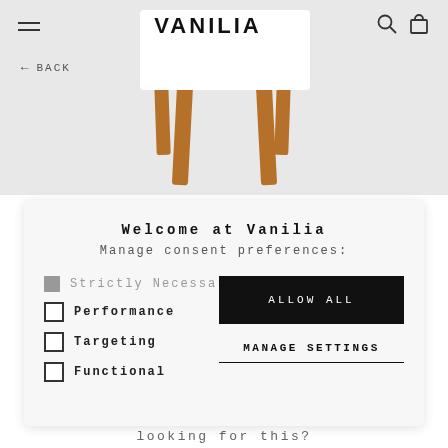[Figure (screenshot): Website screenshot showing Vanilia brand page with furniture image. Top navigation bar with hamburger menu, VANILIA logo, search and cart icons. A back navigation link is visible. Below is a cookie consent dialog.]
VANILIA
← BACK
Welcome at Vanilia
Manage consent preferences:
Strictly Necessary
Performance
Targeting
Functional
ALLOW ALL
MANAGE SETTINGS
looking for this?